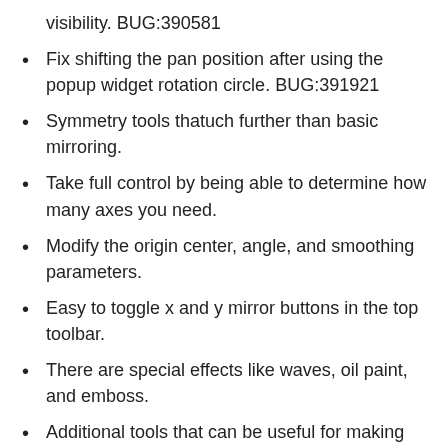visibility. BUG:390581
Fix shifting the pan position after using the popup widget rotation circle. BUG:391921
Symmetry tools thatuch further than basic mirroring.
Take full control by being able to determine how many axes you need.
Modify the origin center, angle, and smoothing parameters.
Easy to toggle x and y mirror buttons in the top toolbar.
There are special effects like waves, oil paint, and emboss.
Additional tools that can be useful for making selections like color to alpha and color transfer.
Krita has raster, vector, filter, programmatic, group,